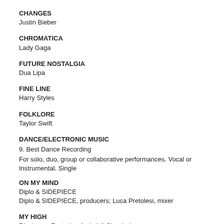CHANGES
Justin Bieber
CHROMATICA
Lady Gaga
FUTURE NOSTALGIA
Dua Lipa
FINE LINE
Harry Styles
FOLKLORE
Taylor Swift
DANCE/ELECTRONIC MUSIC
9. Best Dance Recording
For solo, duo, group or collaborative performances. Vocal or Instrumental. Single
ON MY MIND
Diplo & SIDEPIECE
Diplo & SIDEPIECE, producers; Luca Pretolesi, mixer
MY HIGH
Disclosure Featuring Aminé & Slowthai
Guy Lawrence & Howard Lawrence, producers; Guy Lawrence, mixer
THE DIFFERENCE